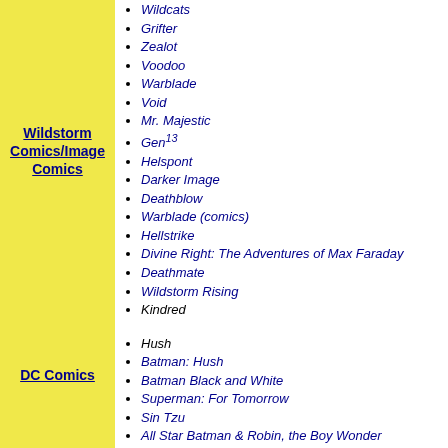Wildstorm Comics/Image Comics
Wildcats
Grifter
Zealot
Voodoo
Warblade
Void
Mr. Majestic
Gen13
Helspont
Darker Image
Deathblow
Warblade (comics)
Hellstrike
Divine Right: The Adventures of Max Faraday
Deathmate
Wildstorm Rising
Kindred
DC Comics
Hush
Batman: Hush
Batman Black and White
Superman: For Tomorrow
Sin Tzu
All Star Batman & Robin, the Boy Wonder